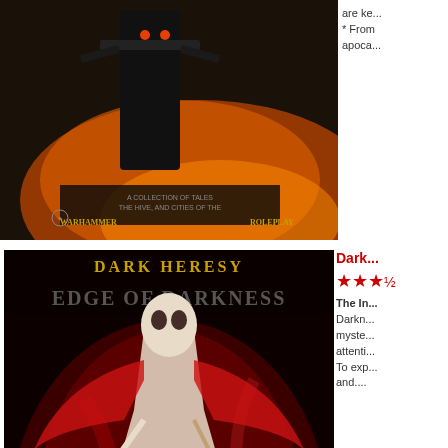[Figure (photo): Dark fantasy book cover showing a warrior/robot figure amid fire, Warhammer roleplay book]
are ke...
* From...
apoca...
[Figure (photo): Dark Heresy: Edge of Darkness book cover - showing a skeletal/alien creature in red tones, 'An Introduction to Dark Heresy' subtitle, Warhammer Roleplay]
Dark...
★★★½
The In...
Darkn...
myste...
attenti...
To exp...
and....
Displaying 1 to 50 (of 124 items
Page 1  Select Page Number
[Figure (photo): Bottom partial image showing two figures - a woman with dark hair and crown/headpiece, and a figure in armor/helmet]